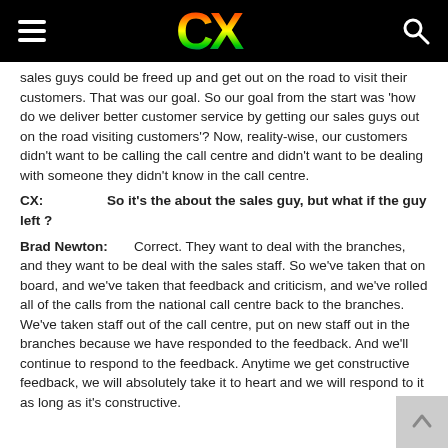CX
sales guys could be freed up and get out on the road to visit their customers.  That was our goal.  So our goal from the start was 'how do we deliver better customer service by getting our sales guys out on the road visiting customers'?  Now, reality-wise, our customers didn't want to be calling the call centre and didn't want to be dealing with someone they didn't know in the call centre.
CX:                So it's the about the sales guy, but what if the guy left ?
Brad Newton:        Correct.  They want to deal with the branches, and they want to be deal with the sales staff.  So we've taken that on board, and we've taken that feedback and criticism, and we've rolled all of the calls from the national call centre back to the branches.  We've taken staff out of the call centre, put on new staff out in the branches because we have responded to the feedback. And we'll continue to respond to the feedback.  Anytime we get constructive feedback, we will absolutely take it to heart and we will respond to it as long as it's constructive.